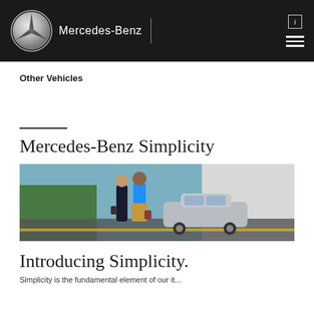Mercedes-Benz
Other Vehicles
Mercedes-Benz Simplicity
[Figure (photo): Two people standing near a silver Mercedes-Benz sedan in a modern outdoor setting with blue and white building facades]
Introducing Simplicity.
Simplicity is the fundamental element of our it...